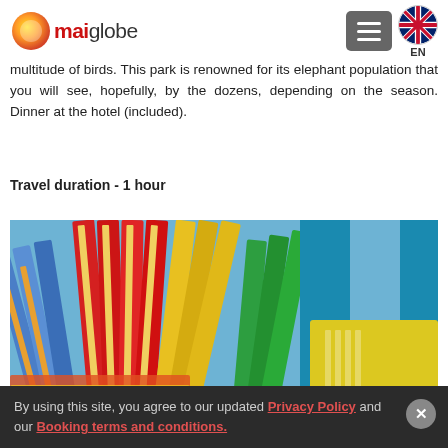mai globe EN
multitude of birds. This park is renowned for its elephant population that you will see, hopefully, by the dozens, depending on the season. Dinner at the hotel (included).
Travel duration - 1 hour
[Figure (photo): Colorful folded fabric or textile fans in bright colors: blue, red, yellow, green arranged in overlapping fan pattern]
By using this site, you agree to our updated Privacy Policy and our Booking terms and conditions.